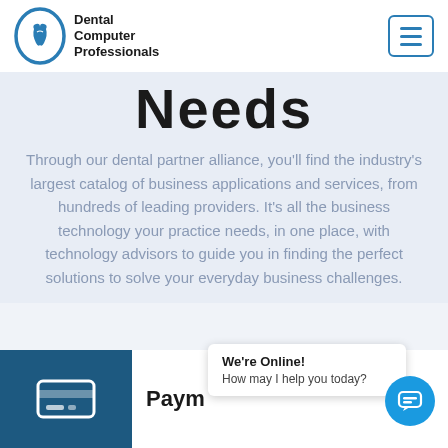Dental Computer Professionals
Needs
Through our dental partner alliance, you'll find the industry's largest catalog of business applications and services, from hundreds of leading providers. It's all the business technology your practice needs, in one place, with technology advisors to guide you in finding the perfect solutions to solve your everyday business challenges.
Paym
We're Online! How may I help you today?